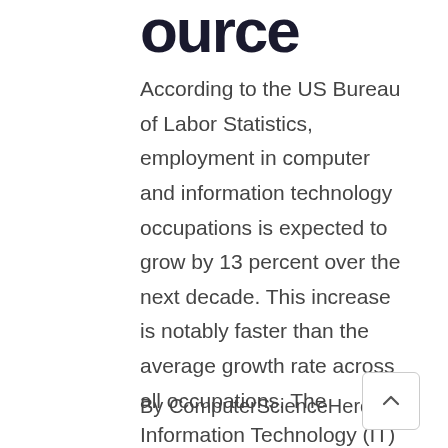ource
According to the US Bureau of Labor Statistics, employment in computer and information technology occupations is expected to grow by 13 percent over the next decade. This increase is notably faster than the average growth rate across all occupations. The Information Technology (IT) industry is also expected to add about 667,000 IT-related jobs into the market from ...
By ComputerScienceHero